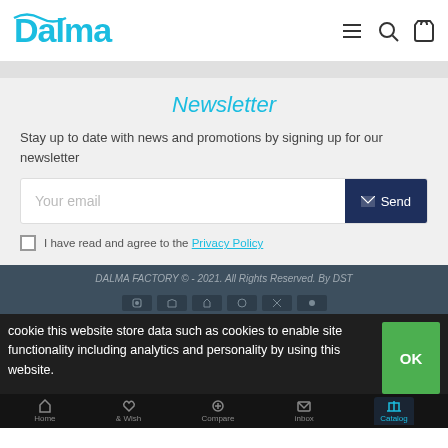[Figure (logo): Dalma logo in cyan/teal color with wavy letters]
Newsletter
Stay up to date with news and promotions by signing up for our newsletter
Your email
Send
I have read and agree to the Privacy Policy
DALMA FACTORY © - 2021. All Rights Reserved. By DST
cookie this website store data such as cookies to enable site functionality including analytics and personality by using this website.
OK